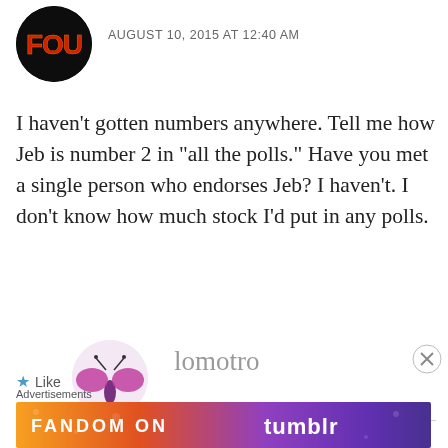[Figure (illustration): Circular avatar with dark background and red/orange FOO text logo]
AUGUST 10, 2015 AT 12:40 AM
I haven't gotten numbers anywhere. Tell me how Jeb is number 2 in “all the polls.” Have you met a single person who endorses Jeb? I haven't. I don't know how much stock I’d put in any polls.
★ Like
REPLY
[Figure (illustration): Partial purple butterfly/bug avatar for user lomotro]
lomotro
Advertisements
[Figure (illustration): Fandom on Tumblr advertisement banner with colorful gradient background]